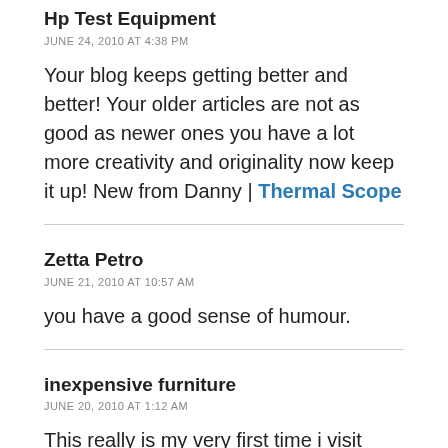Hp Test Equipment
JUNE 24, 2010 AT 4:38 PM
Your blog keeps getting better and better! Your older articles are not as good as newer ones you have a lot more creativity and originality now keep it up! New from Danny | Thermal Scope
Zetta Petro
JUNE 21, 2010 AT 10:57 AM
you have a good sense of humour.
inexpensive furniture
JUNE 20, 2010 AT 1:12 AM
This really is my very first time i visit right here. I